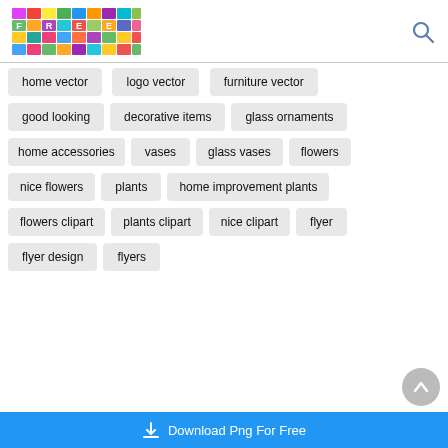FREE [logo] search icon
home vector
logo vector
furniture vector
good looking
decorative items
glass ornaments
home accessories
vases
glass vases
flowers
nice flowers
plants
home improvement plants
flowers clipart
plants clipart
nice clipart
flyer
flyer design
flyers
Download Png For Free